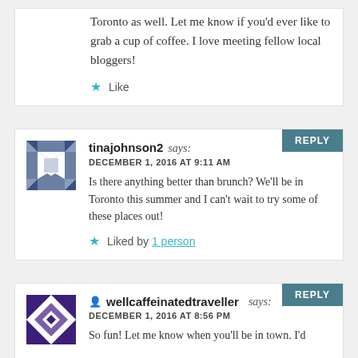Toronto as well. Let me know if you'd ever like to grab a cup of coffee. I love meeting fellow local bloggers!
Like
tinajohnson2 says: DECEMBER 1, 2016 AT 9:11 AM Is there anything better than brunch? We'll be in Toronto this summer and I can't wait to try some of these places out!
Liked by 1 person
wellcaffeinatedtraveller says: DECEMBER 1, 2016 AT 8:56 PM So fun! Let me know when you'll be in town. I'd